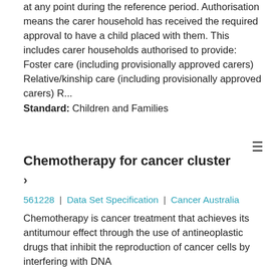at any point during the reference period. Authorisation means the carer household has received the required approval to have a child placed with them. This includes carer households authorised to provide: Foster care (including provisionally approved carers) Relative/kinship care (including provisionally approved carers) R...
Standard: Children and Families
Chemotherapy for cancer cluster
561228 | Data Set Specification | Cancer Australia
Chemotherapy is cancer treatment that achieves its antitumour effect through the use of antineoplastic drugs that inhibit the reproduction of cancer cells by interfering with DNA